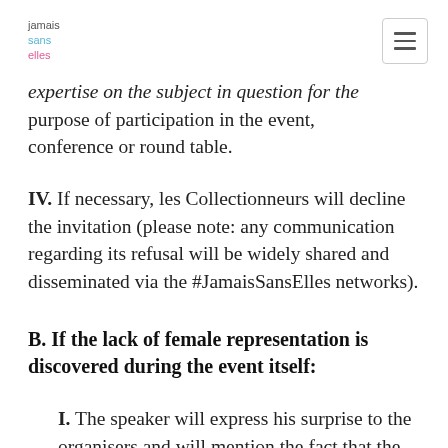jamais sans elles
expertise on the subject in question for the purpose of participation in the event, conference or round table.
IV. If necessary, les Collectionneurs will decline the invitation (please note: any communication regarding its refusal will be widely shared and disseminated via the #JamaisSansElles networks).
B. If the lack of female representation is discovered during the event itself:
I. The speaker will express his surprise to the organisers and will mention the fact that the